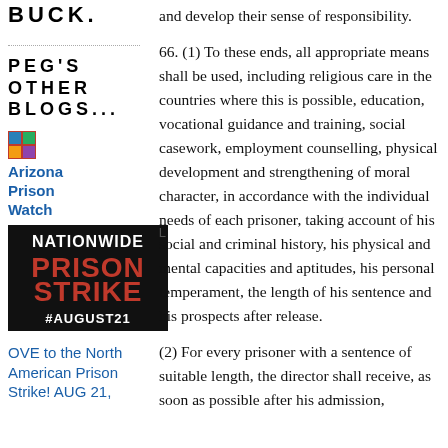BUCK.
and develop their sense of responsibility.
66. (1) To these ends, all appropriate means shall be used, including religious care in the countries where this is possible, education, vocational guidance and training, social casework, employment counselling, physical development and strengthening of moral character, in accordance with the individual needs of each prisoner, taking account of his social and criminal history, his physical and mental capacities and aptitudes, his personal temperament, the length of his sentence and his prospects after release.
PEG'S OTHER BLOGS...
Arizona Prison Watch
[Figure (photo): Nationwide Prison Strike poster with red text PRISON STRIKE and #AUGUST21 on black background]
OVE to the North American Prison Strike! AUG 21,
(2) For every prisoner with a sentence of suitable length, the director shall receive, as soon as possible after his admission,